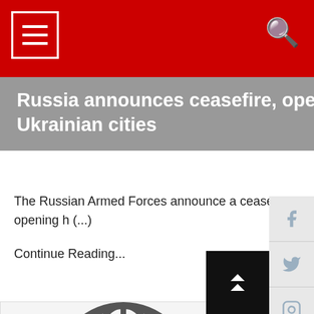Navigation menu and search icon on red header bar
Russia announces ceasefire, opens humanitarian corridors from 4 Ukrainian cities
The Russian Armed Forces announce a ceasefire from 10 o'clo in the morning and are opening h (...)
Continue Reading...
[Figure (logo): International News logo with globe icon, INTERNATIONAL text and NEWS.c text in red]